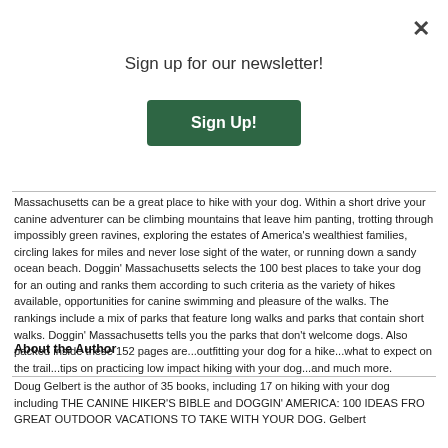×
Sign up for our newsletter!
[Figure (other): Green 'Sign Up!' button]
Massachusetts can be a great place to hike with your dog. Within a short drive your canine adventurer can be climbing mountains that leave him panting, trotting through impossibly green ravines, exploring the estates of America's wealthiest families, circling lakes for miles and never lose sight of the water, or running down a sandy ocean beach. Doggin' Massachusetts selects the 100 best places to take your dog for an outing and ranks them according to such criteria as the variety of hikes available, opportunities for canine swimming and pleasure of the walks. The rankings include a mix of parks that feature long walks and parks that contain short walks. Doggin' Massachusetts tells you the parks that don't welcome dogs. Also packed inside these 152 pages are...outfitting your dog for a hike...what to expect on the trail...tips on practicing low impact hiking with your dog...and much more.
About the Author
Doug Gelbert is the author of 35 books, including 17 on hiking with your dog including THE CANINE HIKER'S BIBLE and DOGGIN' AMERICA: 100 IDEAS FRO GREAT OUTDOOR VACATIONS TO TAKE WITH YOUR DOG. Gelbert